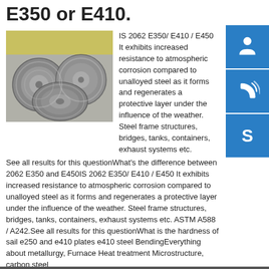E350 or E410.
[Figure (photo): Steel coils/rings stacked together, metallic silver color]
IS 2062 E350/ E410 / E450 It exhibits increased resistance to atmospheric corrosion compared to unalloyed steel as it forms and regenerates a protective layer under the influence of the weather. Steel frame structures, bridges, tanks, containers, exhaust systems etc.See all results for this questionWhat's the difference between 2062 E350 and E450IS 2062 E350/ E410 / E450 It exhibits increased resistance to atmospheric corrosion compared to unalloyed steel as it forms and regenerates a protective layer under the influence of the weather. Steel frame structures, bridges, tanks, containers, exhaust systems etc. ASTM A588 / A242.See all results for this questionWhat is the hardness of sail e250 and e410 plates e410 steel BendingEverything about metallurgy, Furnace Heat treatment Microstructure, carbon steel metallurgy,carburizing,annealing,normalizing,forgging
Welcome to JB Steel